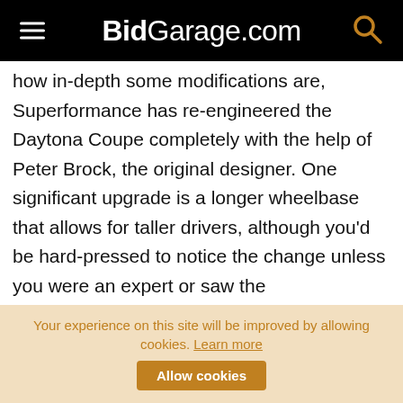BidGarage.com
how in-depth some modifications are, Superformance has re-engineered the Daytona Coupe completely with the help of Peter Brock, the original designer. One significant upgrade is a longer wheelbase that allows for taller drivers, although you'd be hard-pressed to notice the change unless you were an expert or saw the Superformance version sitting next to the original Shelby Daytona Coupe, such is the execution of said modification. Many replicas are offered using similar build
Your experience on this site will be improved by allowing cookies. Learn more  Allow cookies